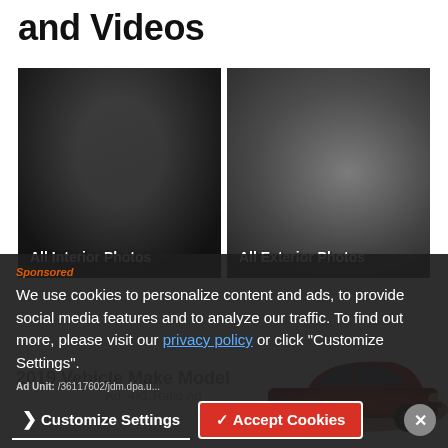and Videos
[Figure (photo): Two car photo thumbnails side by side: left shows car interior (All Interior Photos), right shows car exterior front (All Exterior Photos)]
See All Photos and Videos ›
[Figure (photo): Red sedan car image partially visible at bottom right]
Sponsored
We use cookies to personalize content and ads, to provide social media features and to analyze our traffic. To find out more, please visit our privacy policy or click "Customize Settings".
2019 Vehicle Make Model
Ad: 4x1 Ratio Ad
Ad Unit: /36117602/jdm.dpa.u...
❯ Customize Settings
✓ Accept Cookies
×